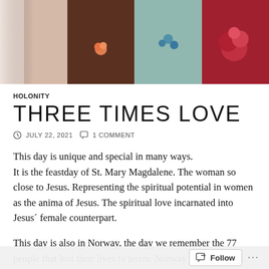[Figure (photo): A collage of four wedding/floral photos: a wedding dress detail on the left, a dark chocolate cake with an orange rose in the center-left, a teal/mint fabric with blue flowers in the center-right, and red roses on the right.]
HOLONITY
THREE TIMES LOVE
JULY 22, 2021  1 COMMENT
This day is unique and special in many ways.
It is the feastday of St. Mary Magdalene. The woman so close to Jesus. Representing the spiritual potential in women as the anima of Jesus. The spiritual love incarnated into Jesus´ female counterpart.
This day is also in Norway, the day we remember the 77 people that lost their lives to terror. Norway was wounded, we all felt